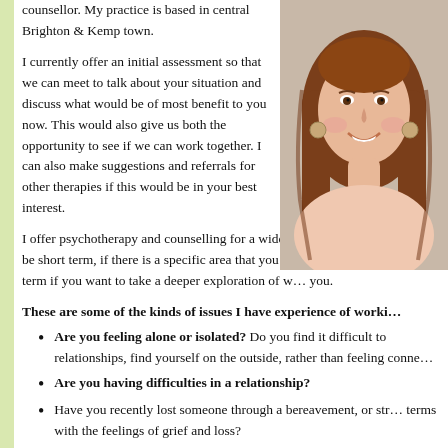counsellor. My practice is based in central Brighton & Kemp town.
[Figure (photo): Portrait photo of a middle-aged woman with long brown hair, smiling, wearing a light pink top and decorative earrings.]
I currently offer an initial assessment so that we can meet to talk about your situation and discuss what would be of most benefit to you now. This would also give us both the opportunity to see if we can work together. I can also make suggestions and referrals for other therapies if this would be in your best interest.
I offer psychotherapy and counselling for a wide range of issues. This can be short term, if there is a specific area that you want to explore, or longer term if you want to take a deeper exploration of w... you.
These are some of the kinds of issues I have experience of worki...
Are you feeling alone or isolated? Do you find it difficult to relationships, find yourself on the outside, rather than feeling conne...
Are you having difficulties in a relationship?
Have you recently lost someone through a bereavement, or str... terms with the feelings of grief and loss?